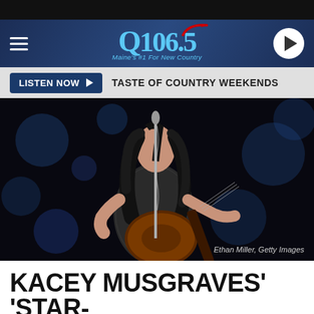Q106.5 — Maine's #1 For New Country
LISTEN NOW ▶  TASTE OF COUNTRY WEEKENDS
[Figure (photo): Kacey Musgraves performing on stage with an acoustic guitar, wearing a patterned bodysuit, with a microphone stand in front of her against a dark blue background. Photo credit: Ethan Miller, Getty Images]
Ethan Miller, Getty Images
KACEY MUSGRAVES' 'STAR-